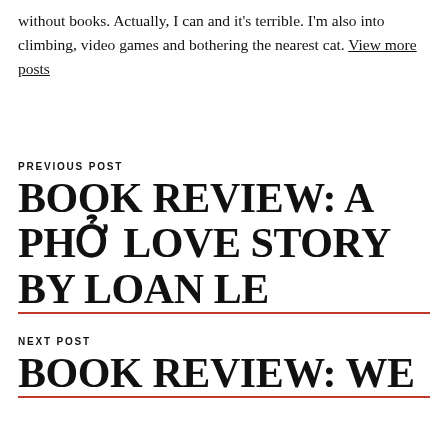without books. Actually, I can and it's terrible. I'm also into climbing, video games and bothering the nearest cat. View more posts
PREVIOUS POST
BOOK REVIEW: A PHỞ LOVE STORY BY LOAN LE
NEXT POST
BOOK REVIEW: WE